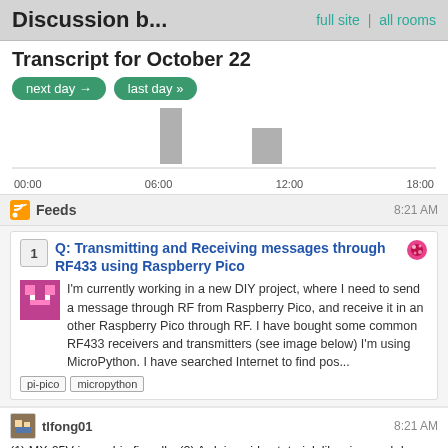Discussion b... | full site | all rooms
Transcript for October 22
[Figure (bar-chart): Activity by time of day]
Feeds  8:21 AM
Q: Transmitting and Receiving messages through RF433 using Raspberry Pico
I'm currently working in a new DIY project, where I need to send a message through RF from Raspberry Pico, and receive it in an other Raspberry Pico through RF. I have bought some common RF433 receivers and transmitters (see image below) I'm using MicroPython. I have searched Internet to find pos...
pi-pico  micropython
tlfong01  8:21 AM
(1) MX-05V is newbie firendly. (2) Arduino video tutorial, libraries, and demo code are easy to find. (3) Pico equivalent is not around, unfortunately. (4) Fortunately the code is not that complicated, so you can try to convert the Arcuino C++ code to Pico MicroPython (the other way around is more difficult, though). If you decided to use MX-05V, you might like to list the simple code and me or others might give a hint on how to convert it to python. PS. I once used use Arduino Decimilla 3V3 SPI RF12B and found